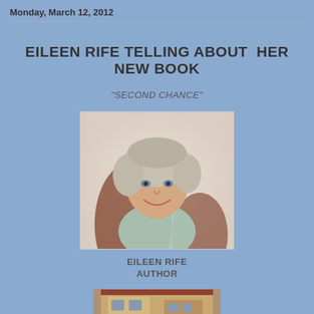Monday, March 12, 2012
EILEEN RIFE TELLING ABOUT  HER NEW BOOK
"SECOND CHANCE"
[Figure (photo): Portrait photo of Eileen Rife, a woman with short gray-blonde hair, smiling, seated in a brown leather chair, wearing a light blue/mint top]
EILEEN RIFE
AUTHOR
[Figure (photo): Partial photo of a building exterior, appears to be a storefront or historic building]